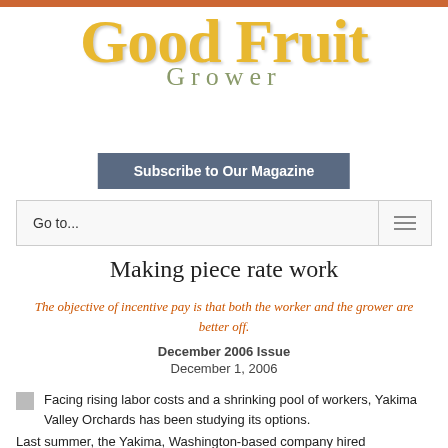[Figure (logo): Good Fruit Grower magazine logo with yellow/gold serif text and olive green 'GROWER' subtitle]
Subscribe to Our Magazine
Go to...
Making piece rate work
The objective of incentive pay is that both the worker and the grower are better off.
December 2006 Issue
December 1, 2006
Facing rising labor costs and a shrinking pool of workers, Yakima Valley Orchards has been studying its options.
Last summer, the Yakima, Washington-based company hired